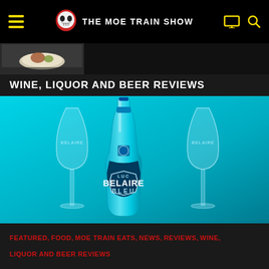THE MOE TRAIN SHOW
[Figure (photo): Small thumbnail of a food dish (plate with food)]
WINE, LIQUOR AND BEER REVIEWS
[Figure (photo): Luc Belaire Bleu champagne bottle (bright blue) flanked by two tall champagne flute glasses on a cyan/teal blue background. The bottle label reads LUC BELAIRE BLEU.]
FEATURED, FOOD, MOE TRAIN EATS, NEWS, REVIEWS, WINE, LIQUOR AND BEER REVIEWS
Luc Belaire Bleu Review: Negative 9 out